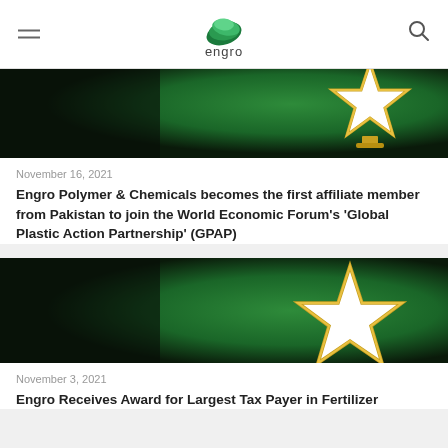engro
[Figure (photo): Green background award trophy image - star shaped award on green background, partially cropped at top]
November 16, 2021
Engro Polymer & Chemicals becomes the first affiliate member from Pakistan to join the World Economic Forum's 'Global Plastic Action Partnership' (GPAP)
[Figure (photo): Green background award trophy image - star shaped award on green background]
November 3, 2021
Engro Receives Award for Largest Tax Payer in Fertilizer